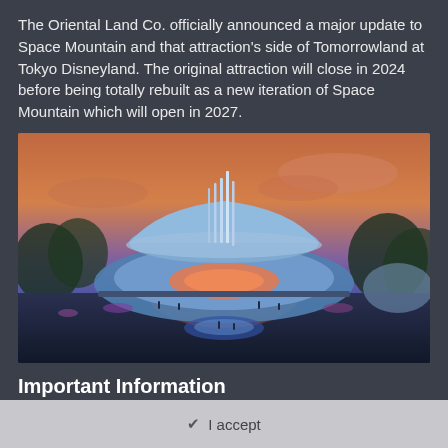The Oriental Land Co. officially announced a major update to Space Mountain and that attraction's side of Tomorrowland at Tokyo Disneyland. The original attraction will close in 2024 before being totally rebuilt as a new iteration of Space Mountain which will open in 2027.
[Figure (photo): Concept art rendering of the new Space Mountain attraction at Tokyo Disneyland, showing a futuristic saucer-shaped building with spires, surrounded by a themed land plaza with visitors, set against a dramatic sunset sky.]
Important Information
Terms of Use https://themeparkreview.com/forum/topic/116-terms-of-service-please-read/
✔  I accept